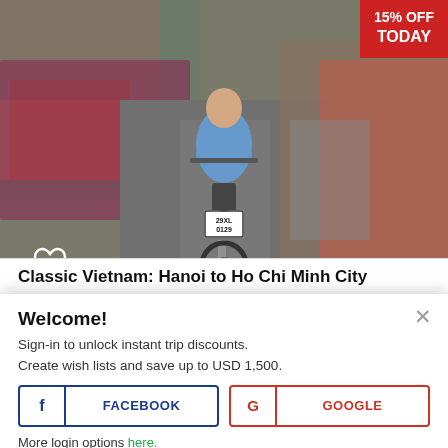[Figure (photo): Street scene in Vietnam showing a rickshaw/cyclo rider from behind, surrounded by motorcycles and crowds on a busy city street. Motion blur effect on surrounding vehicles.]
15% OFF TODAY
Classic Vietnam: Hanoi to Ho Chi Minh City
Welcome!
Sign-in to unlock instant trip discounts.
Create wish lists and save up to USD 1,500.
FACEBOOK
GOOGLE
More login options here.